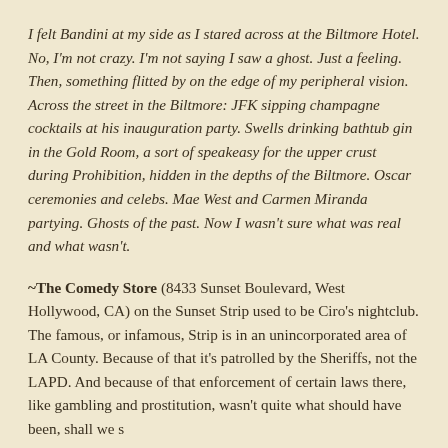I felt Bandini at my side as I stared across at the Biltmore Hotel. No, I'm not crazy. I'm not saying I saw a ghost. Just a feeling. Then, something flitted by on the edge of my peripheral vision. Across the street in the Biltmore: JFK sipping champagne cocktails at his inauguration party. Swells drinking bathtub gin in the Gold Room, a sort of speakeasy for the upper crust during Prohibition, hidden in the depths of the Biltmore. Oscar ceremonies and celebs. Mae West and Carmen Miranda partying. Ghosts of the past. Now I wasn't sure what was real and what wasn't.
~The Comedy Store (8433 Sunset Boulevard, West Hollywood, CA) on the Sunset Strip used to be Ciro's nightclub. The famous, or infamous, Strip is in an unincorporated area of LA County. Because of that it's patrolled by the Sheriffs, not the LAPD. And because of that enforcement of certain laws there, like gambling and prostitution, wasn't quite what should have been, shall we s